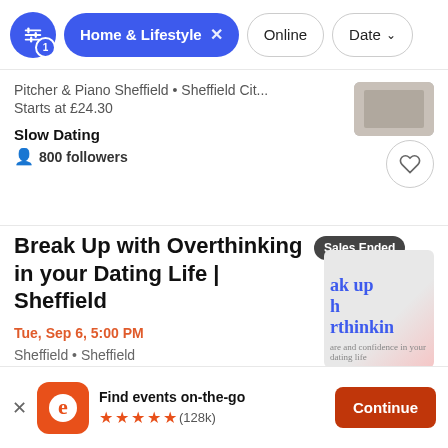[Figure (screenshot): Filter bar with settings icon (blue circle with badge '1'), active pill 'Home & Lifestyle x', outline pills 'Online' and 'Date v']
Pitcher & Piano Sheffield • Sheffield Cit...
Starts at £24.30
Slow Dating
800 followers
Break Up with Overthinking in your Dating Life | Sheffield
Tue, Sep 6, 5:00 PM
Sheffield • Sheffield
[Figure (screenshot): Sales Ended badge over event thumbnail showing 'ak up h rthinkin' text in blue and pink design]
Find events on-the-go
★★★★★ (128k)
Continue